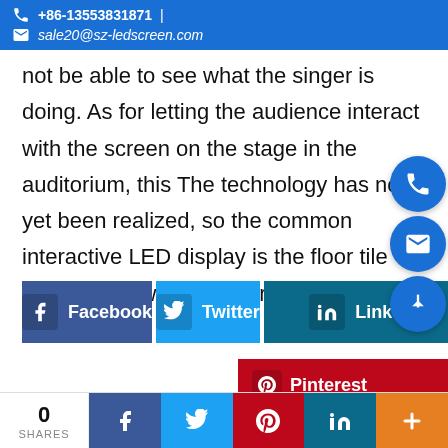+86-13553831871 | sale20@sz-ledscreen.com
not be able to see what the singer is doing. As for letting the audience interact with the screen on the stage in the auditorium, this The technology has not yet been realized, so the common interactive LED display is the floor tile screen, followed by the transparent screen.
[Figure (screenshot): Social media share buttons: Facebook, Twitter, LinkedIn, Pinterest, and a bottom share bar with 0 SHARES count, plus floating contact circles (phone, email, scroll-up)]